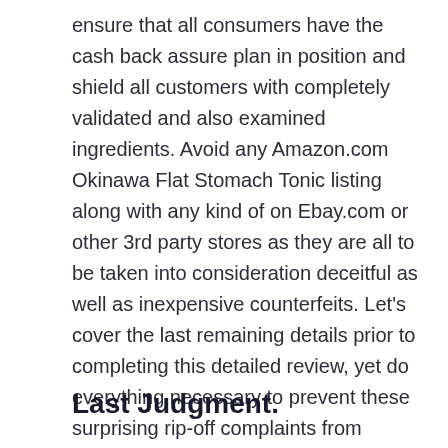ensure that all consumers have the cash back assure plan in position and shield all customers with completely validated and also examined ingredients. Avoid any Amazon.com Okinawa Flat Stomach Tonic listing along with any kind of on Ebay.com or other 3rd party stores as they are all to be taken into consideration deceitful as well as inexpensive counterfeits. Let's cover the last remaining details prior to completing this detailed review, yet do everything necessary to prevent these surprising rip-off complaints from customers obtaining fake Okinawa Flat Stomach Tonic weight loss powder.
Last Judgment.